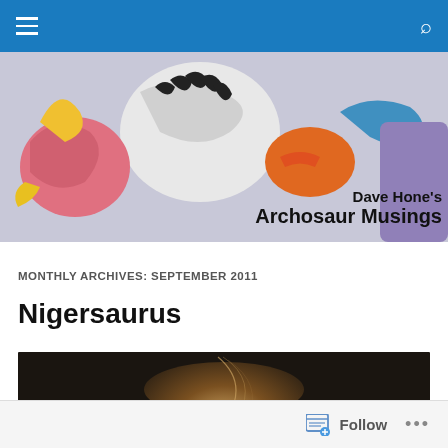Navigation bar with menu and search icons
[Figure (illustration): Blog banner image showing colorful illustrated dinosaurs/archosaurs with text 'Dave Hone's Archosaur Musings']
MONTHLY ARCHIVES: SEPTEMBER 2011
Nigersaurus
[Figure (photo): Dark photograph of what appears to be a dinosaur skeleton or fossil exhibit, partially lit]
Follow ...